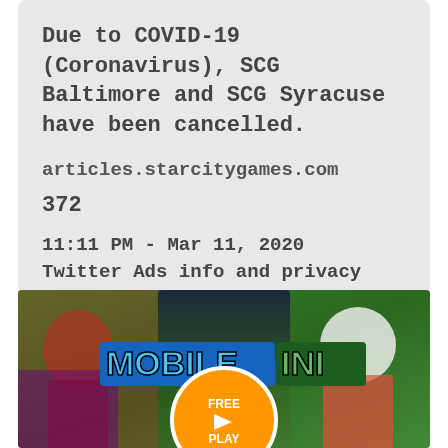Due to COVID-19 (Coronavirus), SCG Baltimore and SCG Syracuse have been cancelled.
articles.starcitygames.com
372
11:11 PM - Mar 11, 2020
Twitter Ads info and privacy
[Figure (illustration): Mobile Ini game advertisement banner with game characters, logo reading MOBILE INI, and a FREE PLAY orange circle button with play triangle icon]